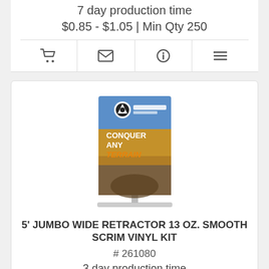7 day production time
$0.85 - $1.05 | Min Qty 250
[Figure (screenshot): Icon row with four icons: shopping cart, envelope, info circle, and list/menu icon]
[Figure (photo): Product image of a 5 foot jumbo wide retractor banner stand displaying Vertex brand banner with text CONQUER ANY TERRAIN]
5' JUMBO WIDE RETRACTOR 13 OZ. SMOOTH SCRIM VINYL KIT
# 261080
3 day production time